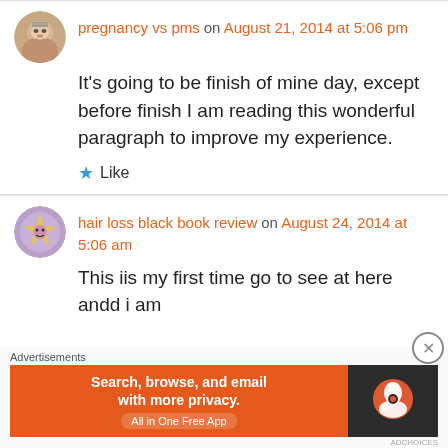pregnancy vs pms on August 21, 2014 at 5:06 pm
It's going to be finish of mine day, except before finish I am reading this wonderful paragraph to improve my experience.
Like
hair loss black book review on August 24, 2014 at 5:06 am
This iis my first time go to see at here andd i am
Advertisements
[Figure (screenshot): DuckDuckGo advertisement banner: Search, browse, and email with more privacy. All in One Free App.]